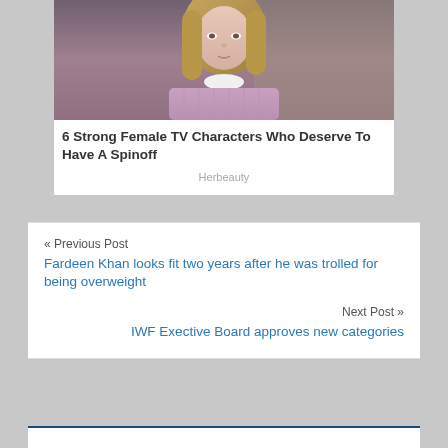[Figure (photo): Young woman with blonde hair wearing a light purple/lavender knit sweater with a white collar, photographed from upper torso up]
6 Strong Female TV Characters Who Deserve To Have A Spinoff
Herbeauty
« Previous Post
Fardeen Khan looks fit two years after he was trolled for being overweight
Next Post »
IWF Exective Board approves new categories